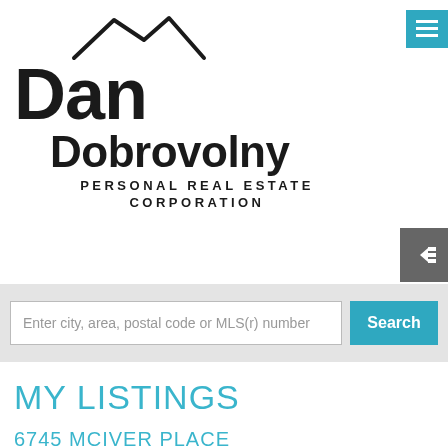[Figure (logo): Dan Dobrovolny Personal Real Estate Corporation logo with mountain silhouette above the name]
[Figure (other): Teal hamburger menu button in top right corner]
[Figure (other): Gray sidebar/menu toggle button with left-pointing arrow icon]
Enter city, area, postal code or MLS(r) number
Search
MY LISTINGS
6745 MCIVER PLACE